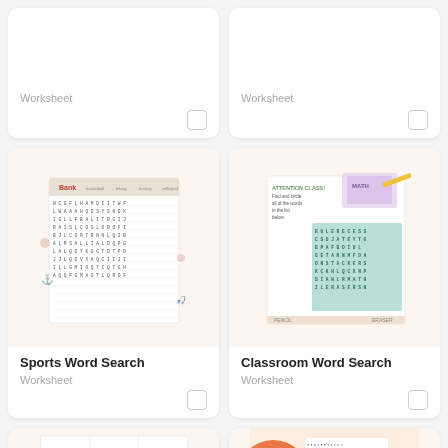[Figure (screenshot): Top portion of a worksheet card (cropped), showing 'Worksheet' label and checkbox]
[Figure (screenshot): Top portion of a worksheet card (cropped), showing 'Worksheet' label and checkbox]
[Figure (illustration): Sports Word Search worksheet preview showing a letter grid with sports-themed decorative icons]
Sports Word Search
Worksheet
[Figure (illustration): Classroom Word Search worksheet preview with letter grid and school-themed header]
Classroom Word Search
Worksheet
[Figure (illustration): Outdoor Scene worksheet preview showing nature images in a grid]
[Figure (illustration): Solar System Word Search worksheet preview with planet images and word search grid]